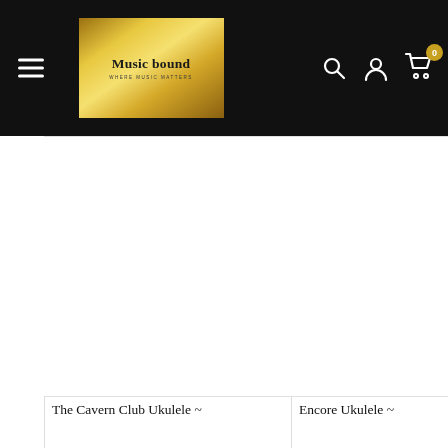[Figure (screenshot): Music Bound e-commerce website header with black background, hamburger menu, gold 'Music bound' logo, search icon, user icon, and cart icon with badge showing 0]
[Figure (photo): Product image area for The Cavern Club Ukulele (blank/loading)]
The Cavern Club Ukulele ~
[Figure (photo): Product image area for Encore Ukulele (blank/loading)]
Encore Ukulele ~